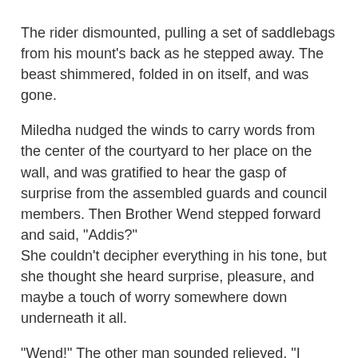The rider dismounted, pulling a set of saddlebags from his mount's back as he stepped away. The beast shimmered, folded in on itself, and was gone.
Miledha nudged the winds to carry words from the center of the courtyard to her place on the wall, and was gratified to hear the gasp of surprise from the assembled guards and council members. Then Brother Wend stepped forward and said, "Addis?"
She couldn't decipher everything in his tone, but she thought she heard surprise, pleasure, and maybe a touch of worry somewhere down underneath it all.
"Wend!" The other man sounded relieved. "I came as soon as I heard."
"You can't dream how glad I am to see you. It's been..." There was a pause, and then Brother Wend said, "This is Viscount Roberr, the lord of Langoish Keep."
There was a brief pause as Roberr stepped forward